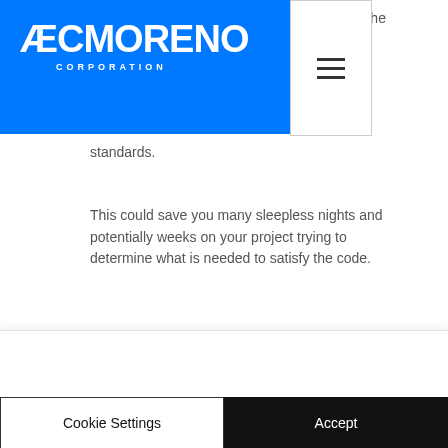[Figure (logo): AEC Moreno Corporation logo — white text on blue background with hamburger menu icon in white box on the right]
s to the er n rom n standards.
This could save you many sleepless nights and potentially weeks on your project trying to determine what is needed to satisfy the code.
We use cookies and similar technologies to enable services and functionality on our site and to understand your interaction with our service. By clicking on accept, you agree to our use of such technologies for marketing and analytics. See Privacy Policy
Cookie Settings
Accept